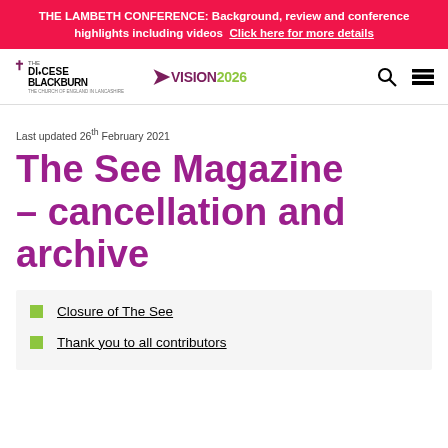THE LAMBETH CONFERENCE: Background, review and conference highlights including videos  Click here for more details
[Figure (logo): Diocese of Blackburn logo and Vision 2026 logo with navigation icons]
Last updated 26th February 2021
The See Magazine – cancellation and archive
Closure of The See
Thank you to all contributors